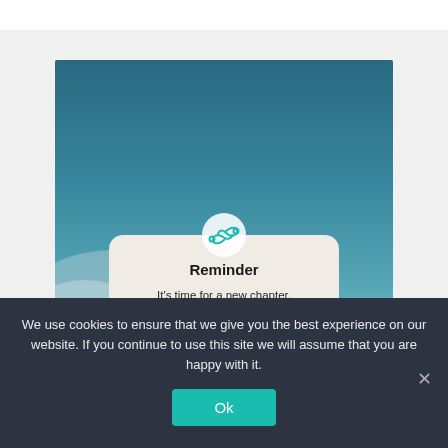[Figure (screenshot): A screenshot of a website showing a reminder card overlaid on a blue-gray sky background photo. The reminder card has an infinity-loop icon, bold title 'Reminder', and text 'It's time for a new chapter. Get a cheap and quick...']
We use cookies to ensure that we give you the best experience on our website. If you continue to use this site we will assume that you are happy with it.